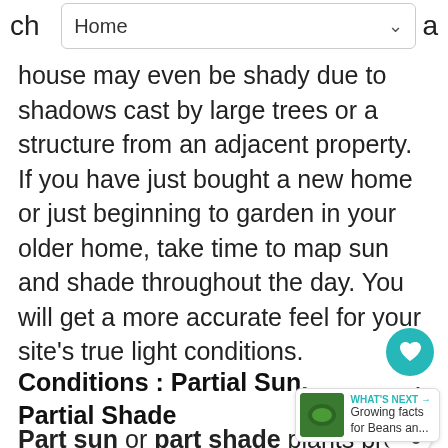Home
house may even be shady due to shadows cast by large trees or a structure from an adjacent property. If you have just bought a new home or just beginning to garden in your older home, take time to map sun and shade throughout the day. You will get a more accurate feel for your site's true light conditions.
Conditions : Partial Sun, Partial Shade
Part sun or part shade plants prefer light that is filtered. Sunlight, though not direct, is important to them. Often morning sun, because it is not as strong as afternoon sun, can be